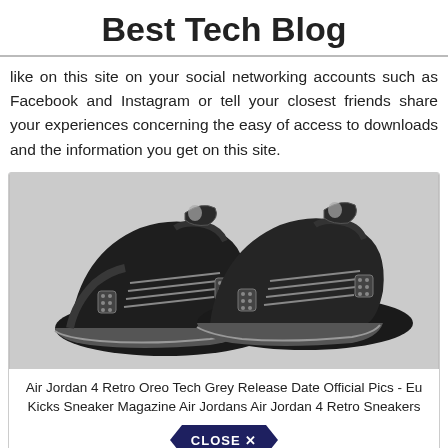Best Tech Blog
like on this site on your social networking accounts such as Facebook and Instagram or tell your closest friends share your experiences concerning the easy of access to downloads and the information you get on this site.
[Figure (photo): Black Air Jordan 4 Retro Oreo Tech Grey sneakers pair, shown from a three-quarter angle on a light grey background.]
Air Jordan 4 Retro Oreo Tech Grey Release Date Official Pics - Eu Kicks Sneaker Magazine Air Jordans Air Jordan 4 Retro Sneakers